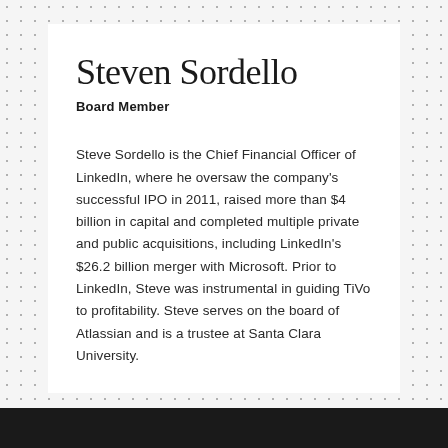Steven Sordello
Board Member
Steve Sordello is the Chief Financial Officer of LinkedIn, where he oversaw the company's successful IPO in 2011, raised more than $4 billion in capital and completed multiple private and public acquisitions, including LinkedIn's $26.2 billion merger with Microsoft. Prior to LinkedIn, Steve was instrumental in guiding TiVo to profitability. Steve serves on the board of Atlassian and is a trustee at Santa Clara University.